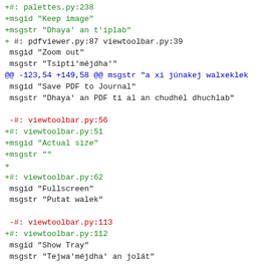+#: palettes.py:238
+msgid "Keep image"
+msgstr "Dhaya' an t'iplab"
+
 #: pdfviewer.py:87 viewtoolbar.py:39
 msgid "Zoom out"
 msgstr "Tsipti'méjdha'"
@@ -123,54 +149,58 @@ msgstr "a xi júnakej walxeklek
 msgid "Save PDF to Journal"
 msgstr "Dhaya' an PDF ti al an chudhél dhuchlab"

 -#: viewtoolbar.py:56
+#: viewtoolbar.py:51
+msgid "Actual size"
+msgstr ""
+
+#: viewtoolbar.py:62
 msgid "Fullscreen"
 msgstr "Putat walek"

 -#: viewtoolbar.py:113
+#: viewtoolbar.py:112
 msgid "Show Tray"
 msgstr "Tejwa'méjdha' an jolát"

 -#: viewtoolbar.py:117
+#: viewtoolbar.py:115
 msgid "Hide Tray"
 msgstr "Tsina' an jolát"